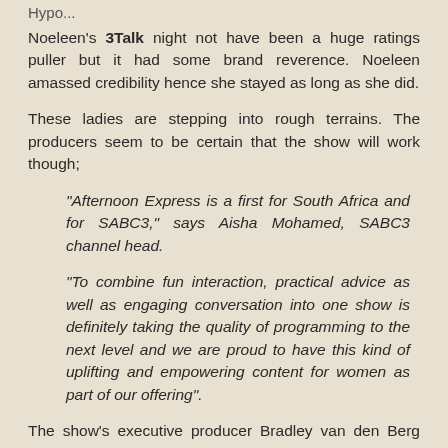Noeleen's 3Talk night not have been a huge ratings puller but it had some brand reverence. Noeleen amassed credibility hence she stayed as long as she did.
These ladies are stepping into rough terrains. The producers seem to be certain that the show will work though;
"Afternoon Express is a first for South Africa and for SABC3," says Aisha Mohamed, SABC3 channel head.
"To combine fun interaction, practical advice as well as engaging conversation into one show is definitely taking the quality of programming to the next level and we are proud to have this kind of uplifting and empowering content for women as part of our offering".
The show's executive producer Bradley van den Berg added;
"The show will give you access and it...